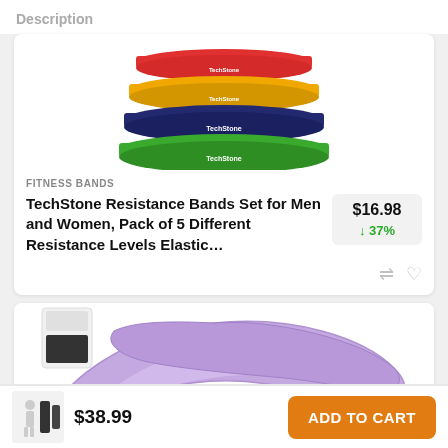Description
[Figure (photo): Stack of 4 colored resistance loop bands (red, yellow/gold, dark blue/navy, green) arranged from top to bottom in a fan/stack arrangement, with text labels on each band]
FITNESS BANDS
TechStone Resistance Bands Set for Men and Women, Pack of 5 Different Resistance Levels Elastic…
$16.98
↓ 37%
[Figure (photo): Purple/lavender resistance pull-up band looped and coiled, viewed from the side on white background]
$38.99
ADD TO CART